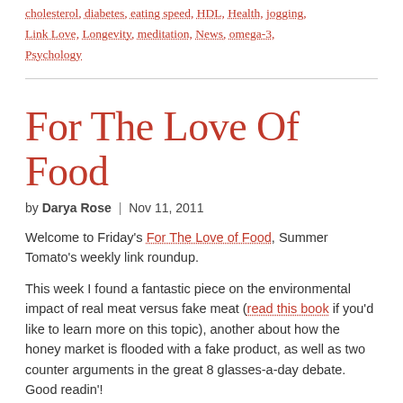cholesterol, diabetes, eating speed, HDL, Health, jogging, Link Love, Longevity, meditation, News, omega-3, Psychology
For The Love Of Food
by Darya Rose | Nov 11, 2011
Welcome to Friday's For The Love of Food, Summer Tomato's weekly link roundup.
This week I found a fantastic piece on the environmental impact of real meat versus fake meat (read this book if you'd like to learn more on this topic), another about how the honey market is flooded with a fake product, as well as two counter arguments in the great 8 glasses-a-day debate. Good readin'!